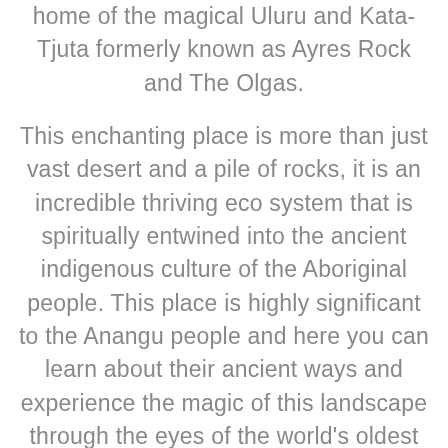home of the magical Uluru and Kata-Tjuta formerly known as Ayres Rock and The Olgas.
This enchanting place is more than just vast desert and a pile of rocks, it is an incredible thriving eco system that is spiritually entwined into the ancient indigenous culture of the Aboriginal people. This place is highly significant to the Anangu people and here you can learn about their ancient ways and experience the magic of this landscape through the eyes of the world's oldest living culture.
There are many ways in which to discover and explore the